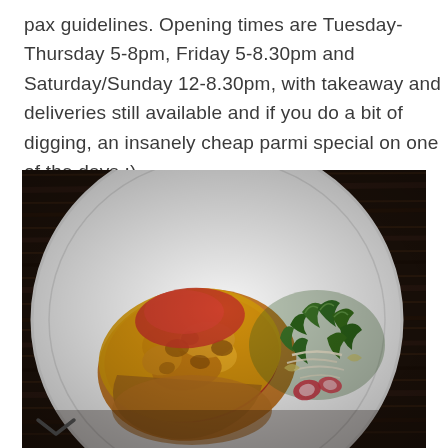pax guidelines. Opening times are Tuesday-Thursday 5-8pm, Friday 5-8.30pm and Saturday/Sunday 12-8.30pm, with takeaway and deliveries still available and if you do a bit of digging, an insanely cheap parmi special on one of the days ;).
[Figure (photo): Overhead view of a chicken parmi (chicken parmigiana) on a large white round plate, topped with melted golden-brown cheese and tomato sauce, served with a green salad garnish including rocket leaves, onion slivers and radish. The plate sits on a dark wood-grain table surface. A chevron/down-arrow icon is visible at the bottom left of the image.]